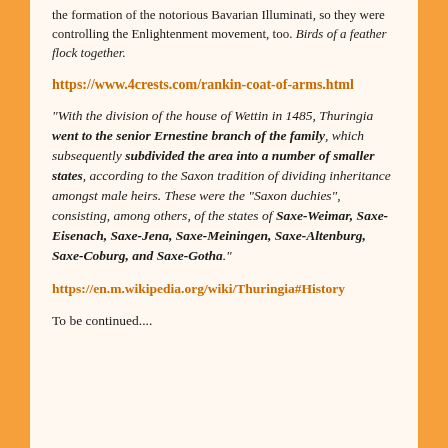the formation of the notorious Bavarian Illuminati, so they were controlling the Enlightenment movement, too. Birds of a feather flock together.
https://www.4crests.com/rankin-coat-of-arms.html
“With the division of the house of Wettin in 1485, Thuringia went to the senior Ernestine branch of the family, which subsequently subdivided the area into a number of smaller states, according to the Saxon tradition of dividing inheritance amongst male heirs. These were the “Saxon duchies”, consisting, among others, of the states of Saxe-Weimar, Saxe-Eisenach, Saxe-Jena, Saxe-Meiningen, Saxe-Altenburg, Saxe-Coburg, and Saxe-Gotha.”
https://en.m.wikipedia.org/wiki/Thuringia#History
To be continued....